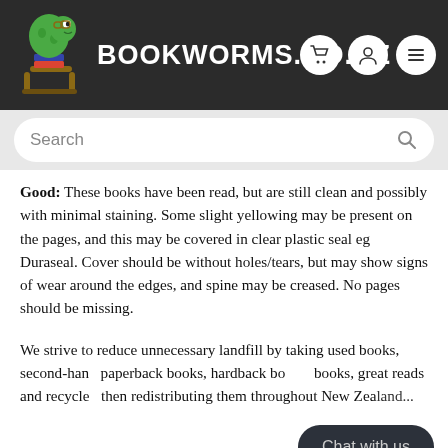BOOKWORMS.CO.NZ
Good: These books have been read, but are still clean and possibly with minimal staining. Some slight yellowing may be present on the pages, and this may be covered in clear plastic seal eg Duraseal. Cover should be without holes/tears, but may show signs of wear around the edges, and spine may be creased. No pages should be missing.
We strive to reduce unnecessary landfill by taking used books, second-hand paperback books, hardback books, great reads and recycled books, then redistributing them throughout New Zealand...